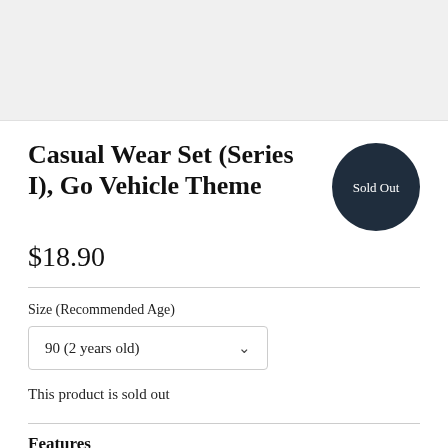[Figure (photo): Light gray image placeholder area at the top of the product page]
Casual Wear Set (Series I), Go Vehicle Theme
Sold Out
$18.90
Size (Recommended Age)
90 (2 years old)
This product is sold out
Features